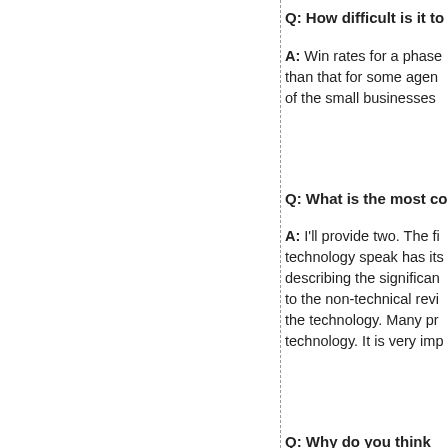Q: How difficult is it to
A: Win rates for a phase than that for some agen of the small businesses
Q: What is the most co
A: I'll provide two. The fi technology speak has its describing the significan to the non-technical revi the technology. Many pr technology. It is very imp
Q: Why do you think th
A: Most proposal write